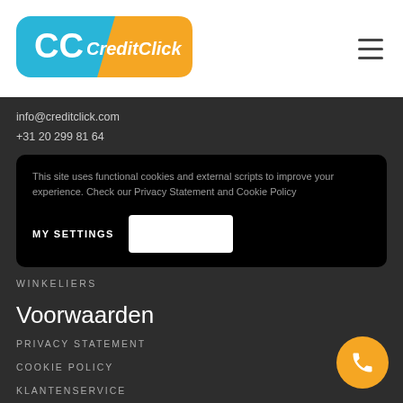[Figure (logo): CreditClick logo with two overlapping C letters on a blue-orange background]
info@creditclick.com
+31 20 299 81 64
This site uses functional cookies and external scripts to improve your experience. Check our Privacy Statement and Cookie Policy
MY SETTINGS
WINKELIERS
Voorwaarden
PRIVACY STATEMENT
COOKIE POLICY
KLANTENSERVICE